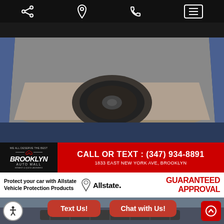[Figure (screenshot): Mobile navigation bar with share, location, phone, and menu icons on dark background]
[Figure (photo): Photo of a car trunk open showing spare tire underneath cargo floor mat, blue exterior visible]
[Figure (infographic): Red banner with Brooklyn Auto Mall logo on left and call/text info: CALL OR TEXT : (347) 934-8891, 1833 EAST NEW YORK AVE, BROOKLYN]
CALL OR TEXT : (347) 934-8891
1833 EAST NEW YORK AVE, BROOKLYN
[Figure (infographic): White banner: Protect your car with Allstate Vehicle Protection Products | Allstate logo | GUARANTEED APPROVAL in red]
Protect your car with Allstate Vehicle Protection Products
GUARANTEED APPROVAL
[Figure (photo): Car interior dashboard photo with Text Us! and Chat with Us! buttons overlaid, accessibility button bottom left, scroll-up button bottom right]